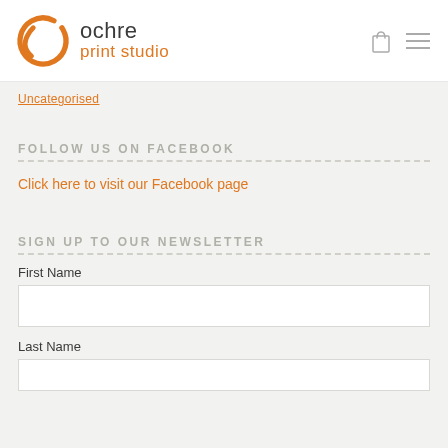ochre print studio
Uncategorised
FOLLOW US ON FACEBOOK
Click here to visit our Facebook page
SIGN UP TO OUR NEWSLETTER
First Name
Last Name